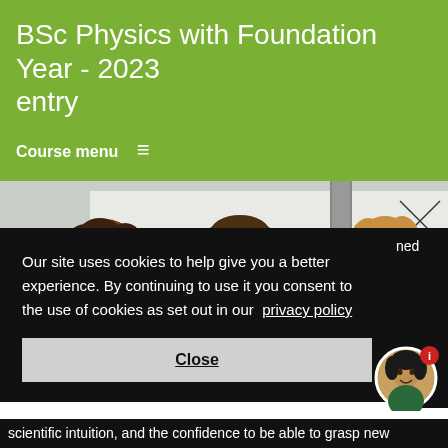BSc Physics with Foundation Year - 2023 entry
Course menu ≡
[Figure (photo): Students in a classroom/tutorial session standing in front of a whiteboard covered with physics equations and graphs, smiling and discussing.]
Our site uses cookies to help give you a better experience. By continuing to use it you consent to the use of cookies as set out in our privacy policy
Close
scientific intuition, and the confidence to be able to grasp new